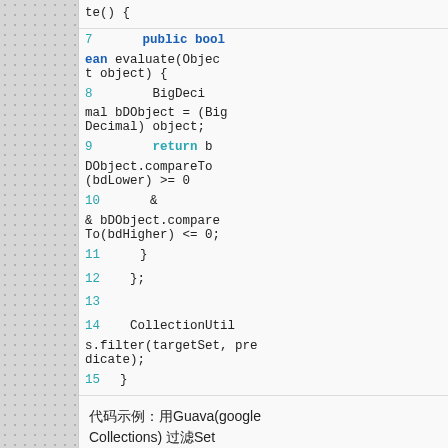[Figure (screenshot): Code snippet showing Java lines 7-15 with line numbers in teal and keywords in blue/teal. Code includes evaluate(), BigDecimal bDObject cast, return statement with compareTo comparisons, closing braces, and CollectionUtils.filter call.]
代码示例：用Guava(google Collections) 过滤Set